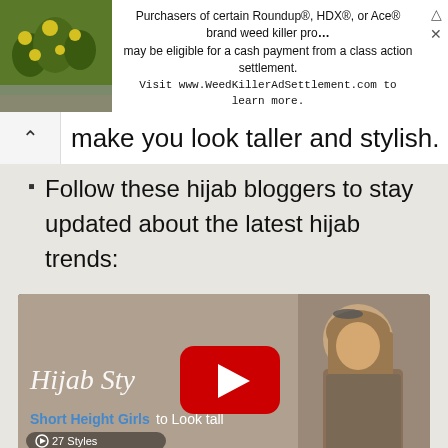[Figure (photo): Advertisement banner: photo of yellow flowers on left, ad text about Roundup/HDX/Ace weed killer settlement, with close and arrow controls]
make you look taller and stylish.
Follow these hijab bloggers to stay updated about the latest hijab trends:
[Figure (screenshot): YouTube video thumbnail titled 'Hijab Style for Short Height Girls to Look tall' with 27 Styles counter and YouTube play button overlay, showing a woman wearing a tan hijab]